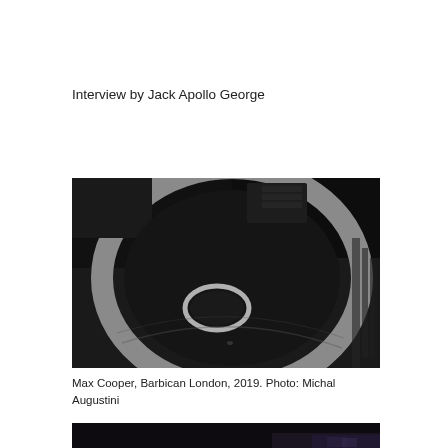Interview by Jack Apollo George
[Figure (photo): Black and white aerial/overhead photograph of a large circular installation at the Barbican London, showing a massive ring or spiral structure with a smaller circle inside, taken from above in a dark venue.]
Max Cooper, Barbican London, 2019. Photo: Michal Augustini
[Figure (photo): Partial view of a second photograph at the bottom of the page, showing a dark performance venue scene.]